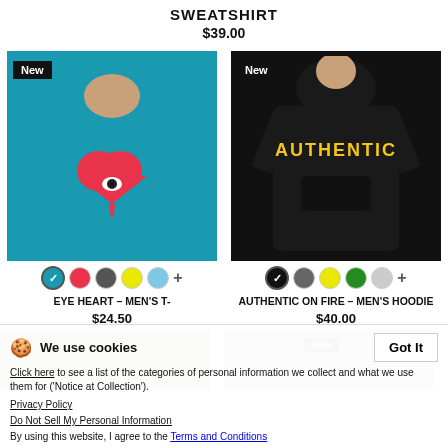SWEATSHIRT
$39.00
[Figure (photo): Back view of man wearing blue t-shirt with anatomical heart graphic, 'New' badge overlay]
[Figure (photo): Back view of man wearing black hoodie with 'AUTHENTIC' text in gold fire lettering, 'New' badge overlay]
EYE HEART – MEN'S T-
AUTHENTIC ON FIRE – MEN'S HOODIE
$24.50
$40.00
We use cookies
Click here to see a list of the categories of personal information we collect and what we use them for ('Notice at Collection').
Privacy Policy
Do Not Sell My Personal Information
By using this website, I agree to the Terms and Conditions
[Figure (photo): Partial bottom row product images]
[Figure (photo): Partial bottom row product image with 'New' badge]